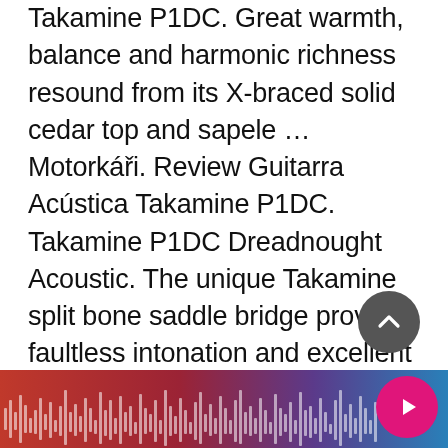Takamine P1DC. Great warmth, balance and harmonic richness resound from its X-braced solid cedar top and sapele … Motorkáři. Review Guitarra Acústica Takamine P1DC. Takamine P1DC Dreadnought Acoustic. The unique Takamine split bone saddle bridge provides faultless intonation and excellent acoustic coupling to the top. Pick it up, take the fast mahogany neck in your hand, strum a few chords, and revel in the harmonic richness resonating from the solid cedar top. MSRPs range from $1374.99 to $1574.99. The unique Takamine split bone saddle bridge provides faultless intonation and excellent acoustic coupling to the top. Reviewed in the United States on June 25, 2014 Color: Natural Verified Purchase. This g...
[Figure (other): Audio waveform visualizer bar at the bottom of the page with red-to-blue gradient background and vertical bars of varying heights representing audio waveform. Includes a circular play button (pink/magenta) on the right and a circular scroll-up button (dark gray) above it.]